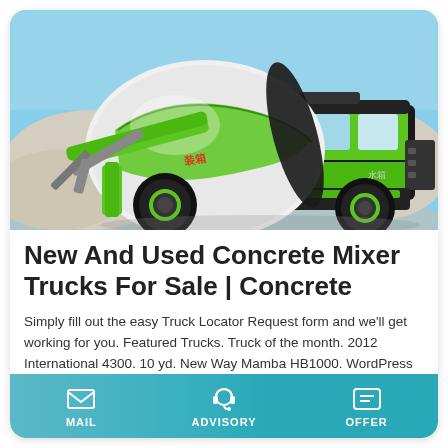[Figure (photo): Green and white concrete mixer truck (self-loading) parked outdoors with blue sky and gravel/sand in the background. Chinese characters visible on the side.]
New And Used Concrete Mixer Trucks For Sale | Concrete
Simply fill out the easy Truck Locator Request form and we'll get working for you. Featured Trucks. Truck of the month. 2012 International 4300. 10 yd. New Way Mamba HB1000. WordPress Image Slider. $55,900. Special Offer.
Learn More
MAIL   ADVISORY   OFFER